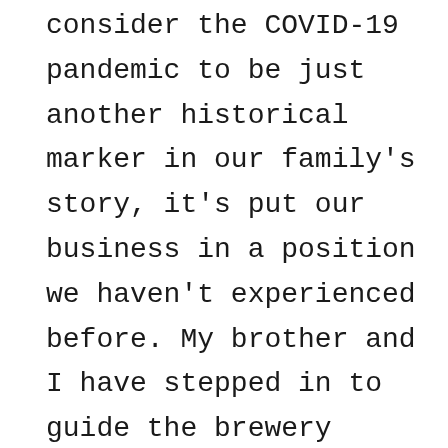consider the COVID-19 pandemic to be just another historical marker in our family's story, it's put our business in a position we haven't experienced before. My brother and I have stepped in to guide the brewery through the uncertainty created by the pandemic and begin a new era of leadership. Part of this next chapter involves Schell's joining the Alliance of Minnesota Craft Breweries to call for the removal of the Growler Cap.

As a brewery in Minnesota, you can't sell growlers if you produce more than 20,000 barrels of beer in a year. Because of the cap,